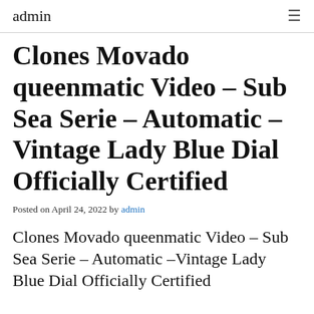admin
Clones Movado queenmatic Video – Sub Sea Serie – Automatic – Vintage Lady Blue Dial Officially Certified
Posted on April 24, 2022 by admin
Clones Movado queenmatic Video – Sub Sea Serie – Automatic –Vintage Lady Blue Dial Officially Certified